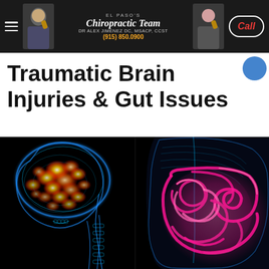El Paso's Chiropractic Team | Dr Alex Jimenez DC, MSACP, CCST | (915) 850.0900 | Call
Traumatic Brain Injuries & Gut Issues
[Figure (illustration): Split medical illustration: left side shows a blue X-ray style human head in profile with glowing orange/red hotspots in the brain; right side shows a blue X-ray style human torso with bright pink/magenta intestines/gut organs highlighted.]